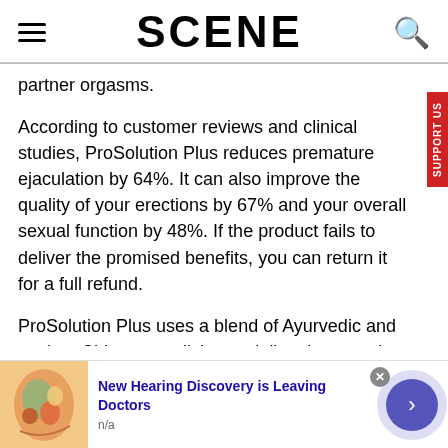SCENE
partner orgasms.
According to customer reviews and clinical studies, ProSolution Plus reduces premature ejaculation by 64%. It can also improve the quality of your erections by 67% and your overall sexual function by 48%. If the product fails to deliver the promised benefits, you can return it for a full refund.
ProSolution Plus uses a blend of Ayurvedic and ancient Chinese medicine to deliver its sexual benefits. It also contains high-quality nutrients that increase male virility
[Figure (screenshot): Advertisement banner: ear anatomy illustration with text 'New Hearing Discovery is Leaving Doctors' and 'n/a', with a forward arrow button]